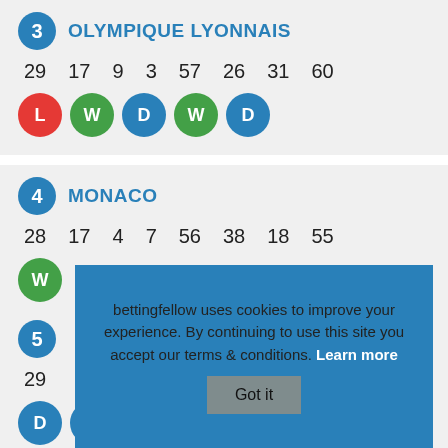3 OLYMPIQUE LYONNAIS
29  17  9  3  57  26  31  60
[Figure (infographic): Form badges: L (red), W (green), D (blue), W (green), D (blue)]
4 MONACO
28  17  4  7  56  38  18  55
[Figure (infographic): Form badge: W (green, partially visible)]
5
29
bettingfellow uses cookies to improve your experience. By continuing to use this site you accept our terms & conditions. Learn more  Got it
[Figure (infographic): Form badges: D (blue), D (blue), L (red), W (green), W (green)]